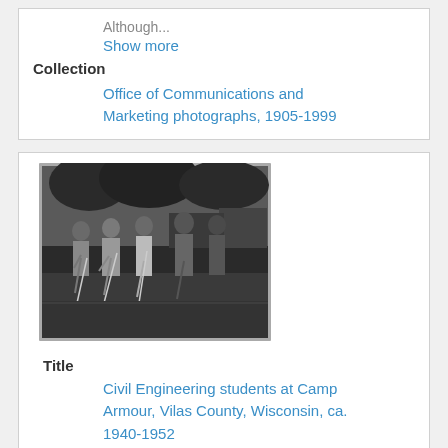Although...
Show more
Collection
Office of Communications and Marketing photographs, 1905-1999
[Figure (photo): Black and white photograph of Civil Engineering students at Camp Armour, showing a group of people standing outdoors, some holding golf clubs or similar equipment, with trees and structures in the background.]
Title
Civil Engineering students at Camp Armour, Vilas County, Wisconsin, ca. 1940-1952